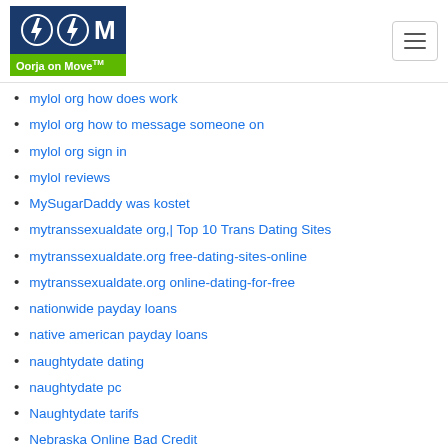[Figure (logo): Oorja on Move logo with lightning bolt icons on dark blue background and green text bar]
mylol org how does work
mylol org how to message someone on
mylol org sign in
mylol reviews
MySugarDaddy was kostet
mytranssexualdate org,| Top 10 Trans Dating Sites
mytranssexualdate.org free-dating-sites-online
mytranssexualdate.org online-dating-for-free
nationwide payday loans
native american payday loans
naughtydate dating
naughtydate pc
Naughtydate tarifs
Nebraska Online Bad Credit
Nebraska Payday Loans Near Me
Nebraska Personal Loans